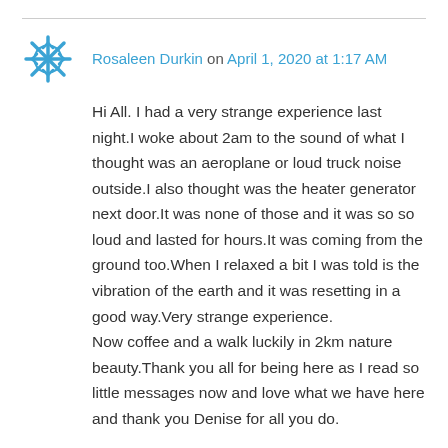Rosaleen Durkin on April 1, 2020 at 1:17 AM
Hi All. I had a very strange experience last night.I woke about 2am to the sound of what I thought was an aeroplane or loud truck noise outside.I also thought was the heater generator next door.It was none of those and it was so so loud and lasted for hours.It was coming from the ground too.When I relaxed a bit I was told is the vibration of the earth and it was resetting in a good way.Very strange experience.
Now coffee and a walk luckily in 2km nature beauty.Thank you all for being here as I read so little messages now and love what we have here and thank you Denise for all you do.